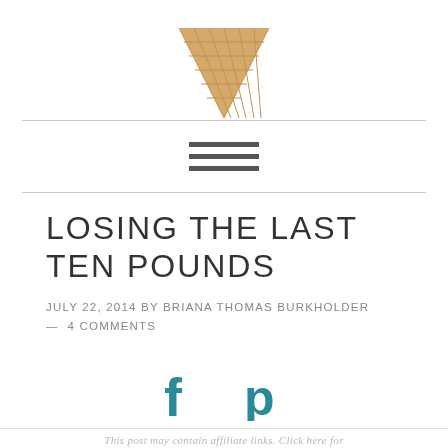[Figure (illustration): Ice cream cone illustration — a waffle cone shape in tan/beige color, pointing downward, partially cropped at the top of the page]
[Figure (other): Hamburger menu icon — three horizontal dark gray lines centered between two horizontal rules]
LOSING THE LAST TEN POUNDS
JULY 22, 2014 BY BRIANA THOMAS BURKHOLDER — 4 COMMENTS
[Figure (other): Social sharing icons — Facebook (f) and Pinterest (P) icons in teal color]
This post may contain affiliate links. Click here for